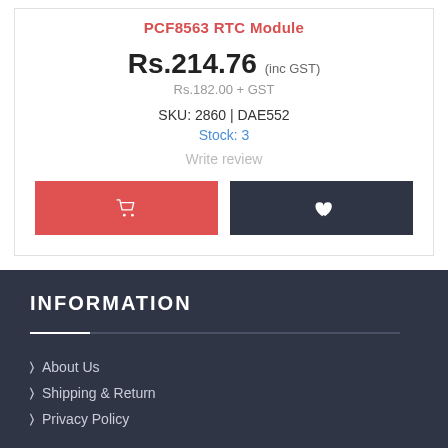PCF8563 RTC Module
Rs.214.76 (inc GST)
Rs.182.00 + GST
SKU: 2860 | DAE552
Stock: 3
Write review
[Figure (other): Add to cart button (red) and wishlist button (dark gray) side by side]
INFORMATION
About Us
Shipping & Return
Privacy Policy